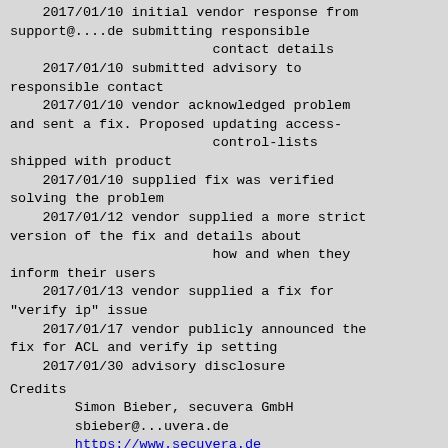2017/01/10 initial vendor response from support@....de submitting responsible contact details
    2017/01/10 submitted advisory to responsible contact
    2017/01/10 vendor acknowledged problem and sent a fix. Proposed updating access-control-lists shipped with product
    2017/01/10 supplied fix was verified solving the problem
    2017/01/12 vendor supplied a more strict version of the fix and details about how and when they inform their users
    2017/01/13 vendor supplied a fix for "verify ip" issue
    2017/01/17 vendor publicly announced the fix for ACL and verify ip setting
    2017/01/30 advisory disclosure
Credits
Simon Bieber, secuvera GmbH
sbieber@...uvera.de
https://www.secuvera.de